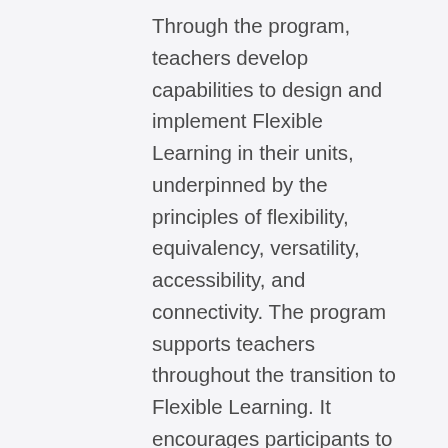Through the program, teachers develop capabilities to design and implement Flexible Learning in their units, underpinned by the principles of flexibility, equivalency, versatility, accessibility, and connectivity. The program supports teachers throughout the transition to Flexible Learning. It encourages participants to engage in various activities such as live sessions, discipline-based communities of practice and submissions of tasks for feedback and review. The program content and activities can also be accessed and completed asynchronously.
On completion of the Flexible Learning Design Program, participants are able to develop equivalencies of content and